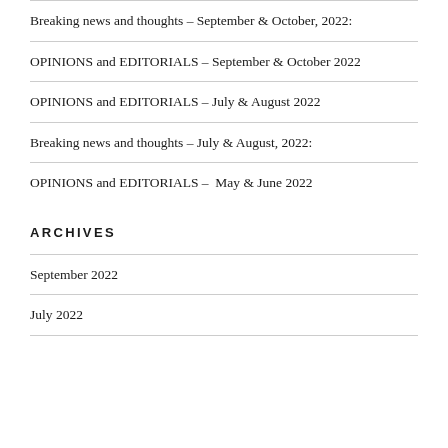Breaking news and thoughts – September & October, 2022:
OPINIONS and EDITORIALS – September & October 2022
OPINIONS and EDITORIALS – July & August 2022
Breaking news and thoughts – July & August, 2022:
OPINIONS and EDITORIALS –  May & June 2022
ARCHIVES
September 2022
July 2022